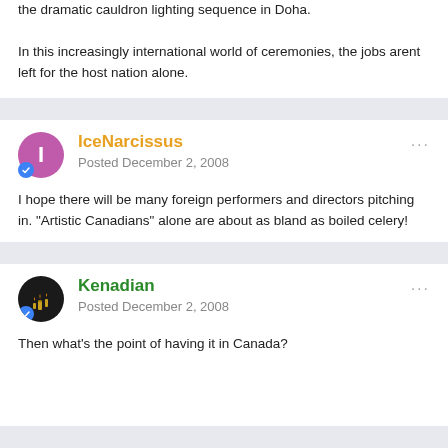the dramatic cauldron lighting sequence in Doha.

In this increasingly international world of ceremonies, the jobs arent left for the host nation alone.
IceNarcissus
Posted December 2, 2008

I hope there will be many foreign performers and directors pitching in. "Artistic Canadians" alone are about as bland as boiled celery!
Kenadian
Posted December 2, 2008

Then what's the point of having it in Canada?